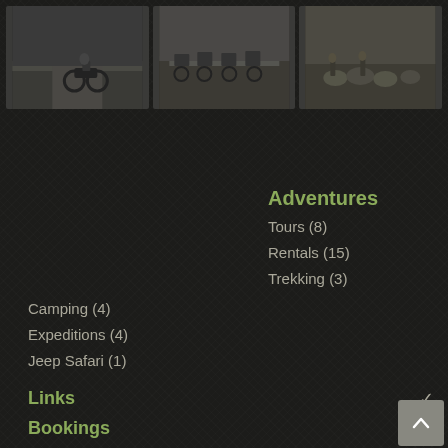[Figure (photo): Three adventure/travel photos in a horizontal row at top: motorcycles on a dirt road, group of motorcycles riding, and people with livestock]
Adventures
Tours (8)
Rentals (15)
Trekking (3)
Camping (4)
Expeditions (4)
Jeep Safari (1)
Links
Bookings
Socials